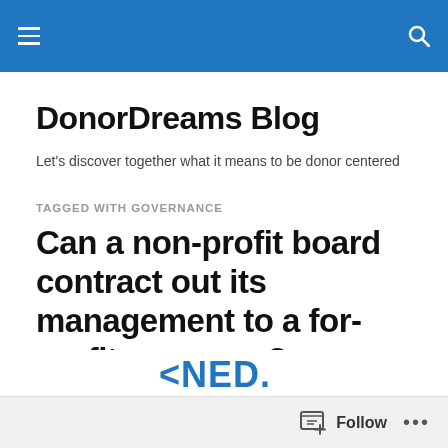DonorDreams Blog — navigation bar
DonorDreams Blog
Let's discover together what it means to be donor centered
TAGGED WITH GOVERNANCE
Can a non-profit board contract out its management to a for-profit company?
Rate This
Follow ...